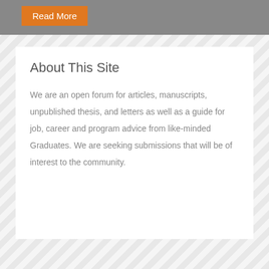Read More
About This Site
We are an open forum for articles, manuscripts, unpublished thesis, and letters as well as a guide for job, career and program advice from like-minded Graduates. We are seeking submissions that will be of interest to the community.